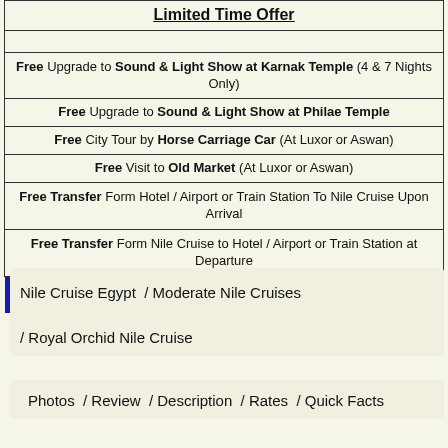| Limited Time Offer |
| --- |
| Free Upgrade to Sound & Light Show at Karnak Temple (4 & 7 Nights Only) |
| Free Upgrade to Sound & Light Show at Philae Temple |
| Free City Tour by Horse Carriage Car (At Luxor or Aswan) |
| Free Visit to Old Market (At Luxor or Aswan) |
| Free Transfer Form Hotel / Airport or Train Station To Nile Cruise Upon Arrival |
| Free Transfer Form Nile Cruise to Hotel / Airport or Train Station at Departure |
| Reserve Your Free Tours - No Obligation - Click Here |
Nile Cruise Egypt  / Moderate Nile Cruises
/ Royal Orchid Nile Cruise
Photos  / Review  / Description  / Rates  / Quick Facts